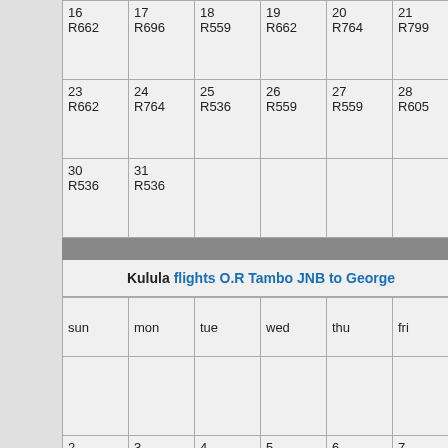| sun | mon | tue | wed | thu | fri | sat |
| --- | --- | --- | --- | --- | --- | --- |
| 16
R662 | 17
R696 | 18
R559 | 19
R662 | 20
R764 | 21
R799 | 22
R85… |
| 23
R662 | 24
R764 | 25
R536 | 26
R559 | 27
R559 | 28
R605 | 29
R53… |
| 30
R536 | 31
R536 |  |  |  |  |  |
Kulula flights O.R Tambo JNB to George
| sun | mon | tue | wed | thu | fri | sat |
| --- | --- | --- | --- | --- | --- | --- |
|  |  |  |  |  |  | 1
R26… |
| 2
R1395 | 3
R1144 | 4
R1395 | 5
R1794 | 6
R1395 | 7
R2500 | 8
R25… |